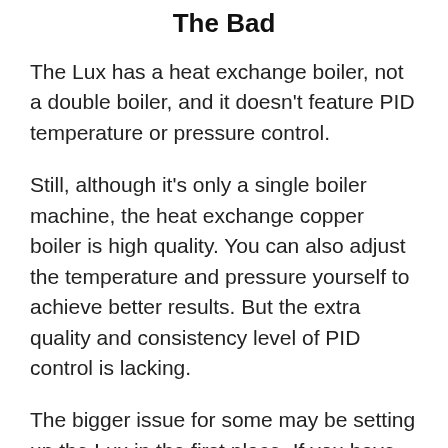The Bad
The Lux has a heat exchange boiler, not a double boiler, and it doesn’t feature PID temperature or pressure control.
Still, although it’s only a single boiler machine, the heat exchange copper boiler is high quality. You can also adjust the temperature and pressure yourself to achieve better results. But the extra quality and consistency level of PID control is lacking.
The bigger issue for some may be setting up the Lux in the first place. If you have an experienced person to lean on, you’ll be in